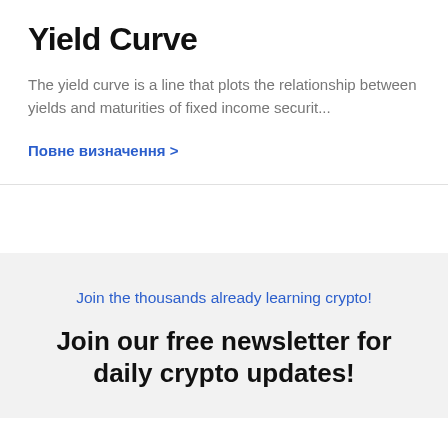Yield Curve
The yield curve is a line that plots the relationship between yields and maturities of fixed income securit...
Повне визначення >
Join the thousands already learning crypto!
Join our free newsletter for daily crypto updates!